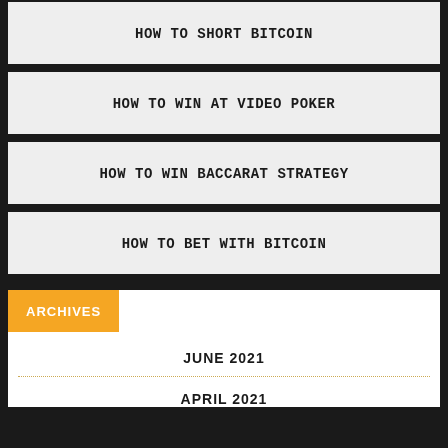HOW TO SHORT BITCOIN
HOW TO WIN AT VIDEO POKER
HOW TO WIN BACCARAT STRATEGY
HOW TO BET WITH BITCOIN
ARCHIVES
JUNE 2021
APRIL 2021